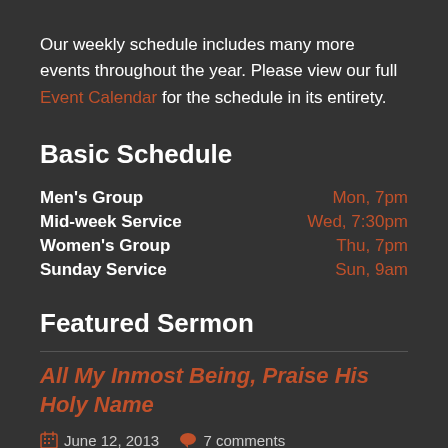Our weekly schedule includes many more events throughout the year. Please view our full Event Calendar for the schedule in its entirety.
Basic Schedule
| Event | Time |
| --- | --- |
| Men's Group | Mon, 7pm |
| Mid-week Service | Wed, 7:30pm |
| Women's Group | Thu, 7pm |
| Sunday Service | Sun, 9am |
Featured Sermon
All My Inmost Being, Praise His Holy Name
June 12, 2013   7 comments